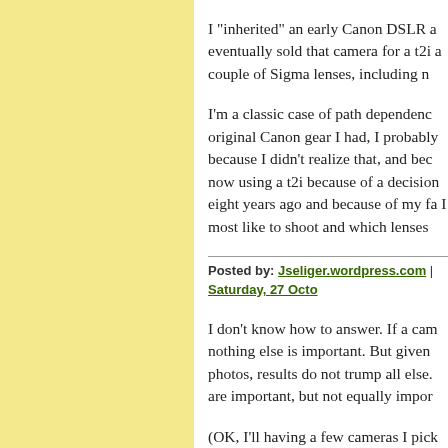I "inherited" an early Canon DSLR a eventually sold that camera for a t2i a couple of Sigma lenses, including n
I'm a classic case of path dependenc original Canon gear I had, I probably because I didn't realize that, and bec now using a t2i because of a decision eight years ago and because of my fa I most like to shoot and which lenses
Posted by: Jseliger.wordpress.com | Saturday, 27 Octo
I don't know how to answer. If a cam nothing else is important. But given photos, results do not trump all else. are important, but not equally impor
(OK, I'll having a few cameras I pick